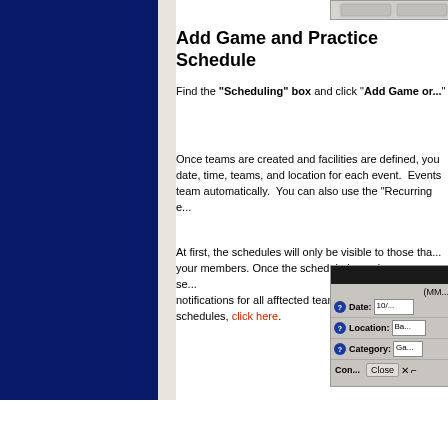[Figure (screenshot): Partial UI screenshot at top right showing buttons]
Add Game and Practice Schedule
Find the "Scheduling" box and click "Add Game or..."
Once teams are created and facilities are defined, you can add date, time, teams, and location for each event. Events... team automatically. You can also use the "Recurring e...
At first, the schedules will only be visible to those tha... your members. Once the schedule is ready, you can se... notifications for all afftected team members and their... schedules, click here.
[Figure (screenshot): Scheduling form UI showing Date, Location, Category fields and Close button]